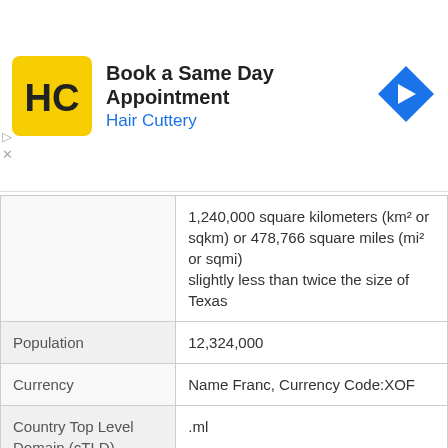[Figure (advertisement): Hair Cuttery advertisement: Book a Same Day Appointment with Hair Cuttery logo (HC in yellow square) and blue diamond arrow icon]
| Field | Value |
| --- | --- |
| Area | 1,240,000 square kilometers (km² or sqkm) or 478,766 square miles (mi² or sqmi)
slightly less than twice the size of Texas |
| Population | 12,324,000 |
| Currency | Name Franc, Currency Code:XOF |
| Country Top Level Domain (cTLD) | .ml |
| Telephone Country Prefix | +223 |
| Mobile Phone Connections | 3,742,000 |
| Landline Phone | 81,000 |